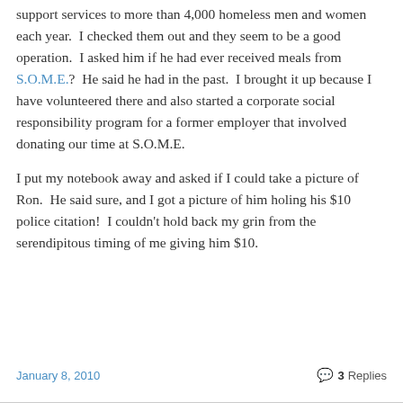support services to more than 4,000 homeless men and women each year.  I checked them out and they seem to be a good operation.  I asked him if he had ever received meals from S.O.M.E.?  He said he had in the past.  I brought it up because I have volunteered there and also started a corporate social responsibility program for a former employer that involved donating our time at S.O.M.E.
I put my notebook away and asked if I could take a picture of Ron.  He said sure, and I got a picture of him holing his $10 police citation!  I couldn't hold back my grin from the serendipitous timing of me giving him $10.
January 8, 2010   3 Replies